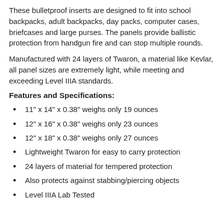These bulletproof inserts are designed to fit into school backpacks, adult backpacks, day packs, computer cases, briefcases and large purses. The panels provide ballistic protection from handgun fire and can stop multiple rounds.
Manufactured with 24 layers of Twaron, a material like Kevlar, all panel sizes are extremely light, while meeting and exceeding Level IIIA standards.
Features and Specifications:
11" x 14" x 0.38" weighs only 19 ounces
12" x 16" x 0.38" weighs only 23 ounces
12" x 18" x 0.38" weighs only 27 ounces
Lightweight Twaron for easy to carry protection
24 layers of material for tempered protection
Also protects against stabbing/piercing objects
Level IIIA Lab Tested